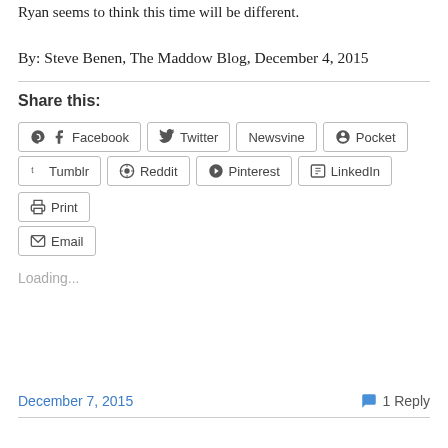Ryan seems to think this time will be different.
By: Steve Benen, The Maddow Blog, December 4, 2015
Share this:
Facebook  Twitter  Newsvine  Pocket  Tumblr  Reddit  Pinterest  LinkedIn  Print  Email
Loading...
December 7, 2015
1 Reply